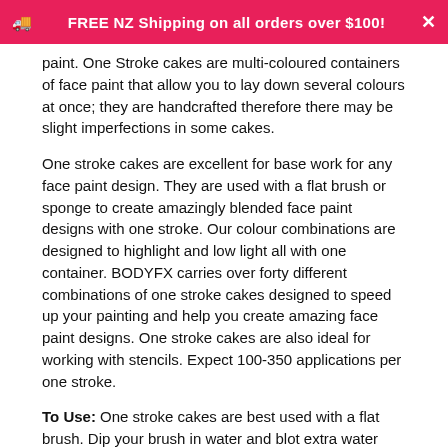FREE NZ Shipping on all orders over $100!
paint. One Stroke cakes are multi-coloured containers of face paint that allow you to lay down several colours at once; they are handcrafted therefore there may be slight imperfections in some cakes.
One stroke cakes are excellent for base work for any face paint design. They are used with a flat brush or sponge to create amazingly blended face paint designs with one stroke. Our colour combinations are designed to highlight and low light all with one container. BODYFX carries over forty different combinations of one stroke cakes designed to speed up your painting and help you create amazing face paint designs. One stroke cakes are also ideal for working with stencils. Expect 100-350 applications per one stroke.
To Use: One stroke cakes are best used with a flat brush. Dip your brush in water and blot extra water from a brush on a dry paper towel, next rub your brush back and forth across the surface of the Split Cake. Make sure to load your brush